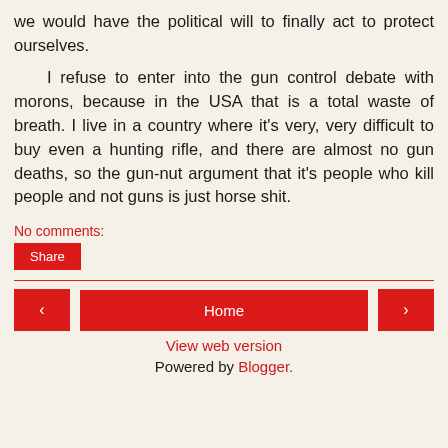we would have the political will to finally act to protect ourselves.
I refuse to enter into the gun control debate with morons, because in the USA that is a total waste of breath. I live in a country where it's very, very difficult to buy even a hunting rifle, and there are almost no gun deaths, so the gun-nut argument that it's people who kill people and not guns is just horse shit.
No comments:
Share
Home
View web version
Powered by Blogger.